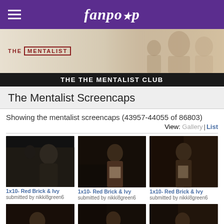fanpop
[Figure (photo): The Mentalist TV show banner with logo and cast photo]
THE THE MENTALIST CLUB
The Mentalist Screencaps
Showing the mentalist screencaps (43957-44055 of 86803)
View: Gallery | List
[Figure (photo): 1x10- Red Brick & Ivy screencap - man in profile]
1x10- Red Brick & Ivy
submitted by nikki8green6
[Figure (photo): 1x10- Red Brick & Ivy screencap - woman in brown jacket]
1x10- Red Brick & Ivy
submitted by nikki8green6
[Figure (photo): 1x10- Red Brick & Ivy screencap - woman in white shirt]
1x10- Red Brick & Ivy
submitted by nikki8green6
[Figure (photo): 1x10- Red Brick & Ivy screencap - woman looking left]
1x10- Red Brick & Ivy
submitted by nikki8green6
[Figure (photo): 1x10- Red Brick & Ivy screencap - woman in profile]
1x10- Red Brick & Ivy
submitted by nikki8green6
[Figure (photo): 1x10- Red Brick & Ivy screencap - woman looking down]
1x10- Red Brick & Ivy
submitted by nikki8green6